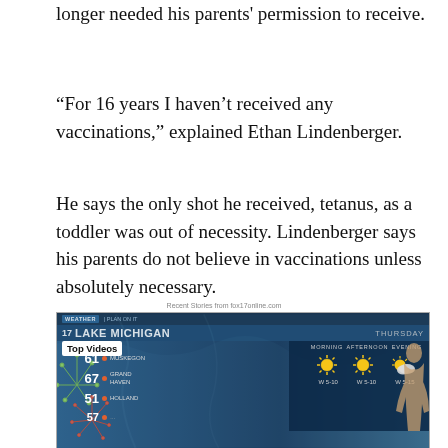longer needed his parents' permission to receive.
“For 16 years I haven’t received any vaccinations,” explained Ethan Lindenberger.
He says the only shot he received, tetanus, as a toddler was out of necessity. Lindenberger says his parents do not believe in vaccinations unless absolutely necessary.
Recent Stories from fox17online.com
[Figure (screenshot): Weather forecast screenshot showing Lake Michigan Thursday forecast with temperatures for Muskegon (61), Grand Haven (67), Holland (51). Morning, Afternoon, Evening columns with sun/partly cloudy icons. Wind W 5-10, W 5-10, W 5-15. Top Videos badge visible.]